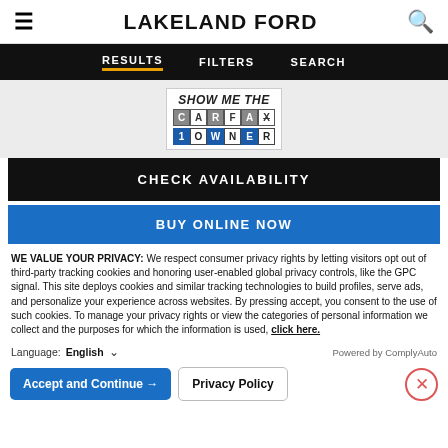LAKELAND FORD
RESULTS  FILTERS  SEARCH
[Figure (logo): CARFAX 1 Owner badge — 'SHOW ME THE CARFAX 1OWNER']
CHECK AVAILABILITY
BUY ONLINE NOW
WE VALUE YOUR PRIVACY: We respect consumer privacy rights by letting visitors opt out of third-party tracking cookies and honoring user-enabled global privacy controls, like the GPC signal. This site deploys cookies and similar tracking technologies to build profiles, serve ads, and personalize your experience across websites. By pressing accept, you consent to the use of such cookies. To manage your privacy rights or view the categories of personal information we collect and the purposes for which the information is used, click here.
Language: English  ∨  Powered by ComplyAuto
Accept and Continue →  Privacy Policy  ✕